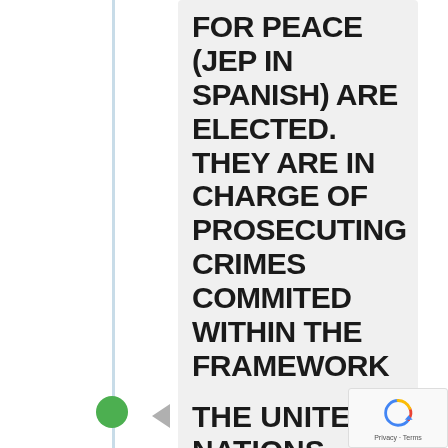FOR PEACE (JEP IN SPANISH) ARE ELECTED. THEY ARE IN CHARGE OF PROSECUTING CRIMES COMMITED WITHIN THE FRAMEWORK OF THE CONFLICT
26. September 2017
THE UNITED NATIONS